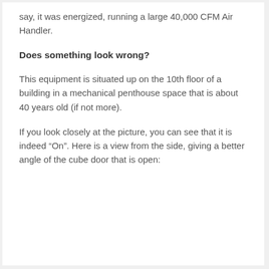say, it was energized, running a large 40,000 CFM Air Handler.
Does something look wrong?
This equipment is situated up on the 10th floor of a building in a mechanical penthouse space that is about 40 years old (if not more).
If you look closely at the picture, you can see that it is indeed "On". Here is a view from the side, giving a better angle of the cube door that is open: